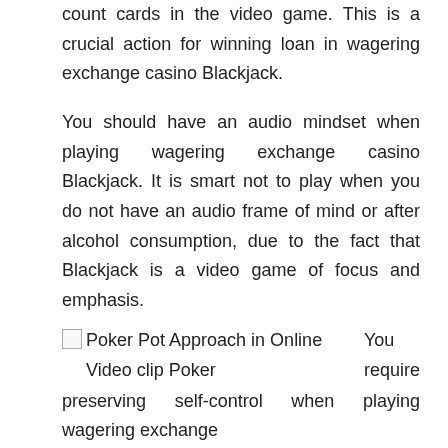count cards in the video game. This is a crucial action for winning loan in wagering exchange casino Blackjack.
You should have an audio mindset when playing wagering exchange casino Blackjack. It is smart not to play when you do not have an audio frame of mind or after alcohol consumption, due to the fact that Blackjack is a video game of focus and emphasis.
[Figure (other): Broken image placeholder labeled: Poker Pot Approach in Online Video clip Poker. Text to the right reads: You require]
preserving self-control when playing wagering exchange